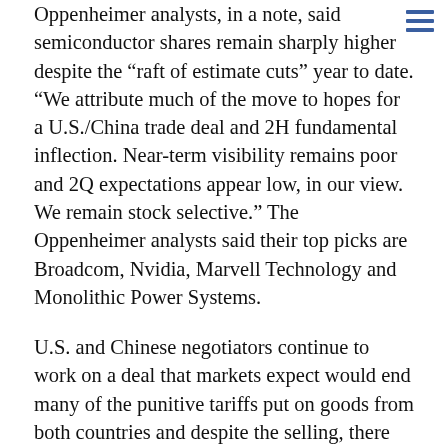Oppenheimer analysts, in a note, said semiconductor shares remain sharply higher despite the “raft of estimate cuts” year to date. “We attribute much of the move to hopes for a U.S./China trade deal and 2H fundamental inflection. Near-term visibility remains poor and 2Q expectations appear low, in our view. We remain stock selective.” The Oppenheimer analysts said their top picks are Broadcom, Nvidia, Marvell Technology and Monolithic Power Systems.
U.S. and Chinese negotiators continue to work on a deal that markets expect would end many of the punitive tariffs put on goods from both countries and despite the selling, there was still a sense a deal could be announced this quarter.
“People are saying it’s China, China, China. … At a certain point, we’ll find out. It could be sell the news. That doesn’t fix the issues. That doesn’t fix the issues